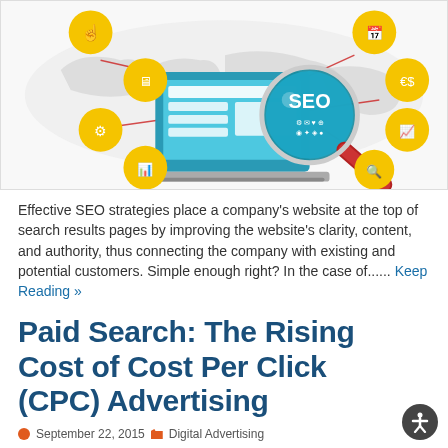[Figure (illustration): SEO infographic showing a laptop with a magnifying glass displaying 'SEO', surrounded by yellow circular icons representing various digital marketing concepts (search, analytics, globe, browser, email, social, etc.) on a world map background.]
Effective SEO strategies place a company's website at the top of search results pages by improving the website's clarity, content, and authority, thus connecting the company with existing and potential customers. Simple enough right? In the case of...... Keep Reading »
Paid Search: The Rising Cost of Cost Per Click (CPC) Advertising
September 22, 2015  Digital Advertising